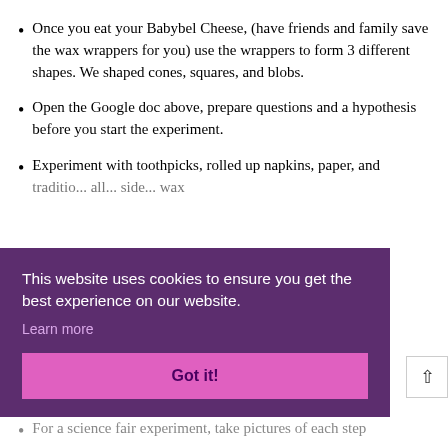Once you eat your Babybel Cheese, (have friends and family save the wax wrappers for you) use the wrappers to form 3 different shapes. We shaped cones, squares, and blobs.
Open the Google doc above, prepare questions and a hypothesis before you start the experiment.
Experiment with toothpicks, rolled up napkins, paper, and [partially obscured] wax [partially obscured]
This website uses cookies to ensure you get the best experience on our website. Learn more
Got it!
For a science fair experiment, take pictures of each step [partially obscured]